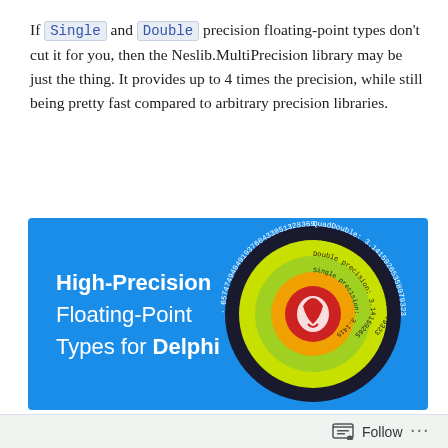If Single and Double precision floating-point types don't cut it for you, then the Neslib.MultiPrecision library may be just the thing. It provides up to 4 times the precision, while still being pretty fast compared to arbitrary precision libraries.
[Figure (illustration): Blue banner image titled 'High-Precision Floating-Point Types for Delphi' with a circular diagram showing concentric rings labelled with pi precision levels: Single precision, Double precision, DoubleDouble, QuadDouble, each with progressively more digits of pi.]
Follow ...